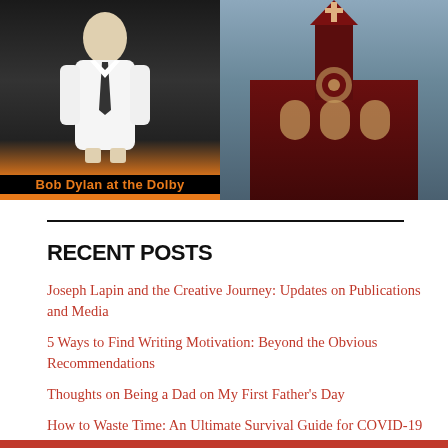[Figure (photo): Book cover or promotional image for Bob Dylan at the Dolby, featuring a stylized black and white silhouette figure against an orange background with the caption 'Bob Dylan at the Dolby']
[Figure (photo): Photograph of a red brick church with Gothic architecture, arched windows, and a steeple cross against a dramatic cloudy sky]
RECENT POSTS
Joseph Lapin and the Creative Journey: Updates on Publications and Media
5 Ways to Find Writing Motivation: Beyond the Obvious Recommendations
Thoughts on Being a Dad on My First Father's Day
How to Waste Time: An Ultimate Survival Guide for COVID-19 and the Future
How to be More Positive During Crisis | 7 Thoughts During Covid-19